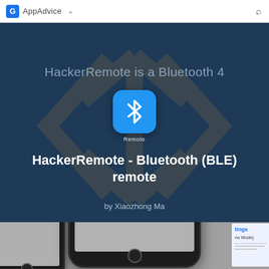AppAdvice
[Figure (screenshot): App store listing hero banner with dark blue background, Bluetooth app icon, and decorative Bluetooth watermark symbol]
HackerRemote - Bluetooth (BLE) remote
HackerRemote is a Bluetooth 4
by Xiaozhong Ma
[Figure (screenshot): iPhone device screenshot showing app interface, partially visible with gray screen area and partial second phone on right edge]